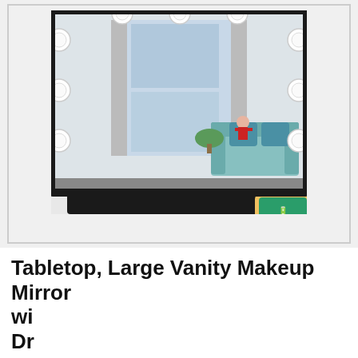[Figure (photo): Product photo of a large black Hollywood vanity makeup mirror with round LED bulbs arranged along the sides, placed on a dressing table surface. A smartphone is being wirelessly charged at the base. The mirror reflects a room with a window, curtains, a sofa with blue pillows, a plant, and a Santa Claus figurine. Cosmetic products are visible on the left side.]
Tabletop, Large Vanity Makeup Mirror with 15 Dimmable LED Bulbs for Dressing Room, Makeup Vanity Mirror with Hollywood Lighted Makeup Mirror with
As an Amazon Associate I earn from qualifying purchases. This website uses the only necessary cookies to ensure you get the best experience on our website. More information